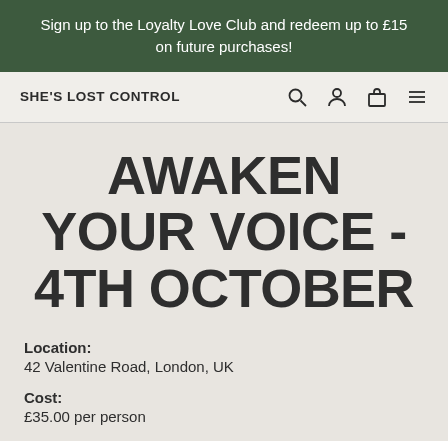Sign up to the Loyalty Love Club and redeem up to £15 on future purchases!
SHE'S LOST CONTROL
AWAKEN YOUR VOICE - 4TH OCTOBER
Location:
42 Valentine Road, London, UK
Cost:
£35.00 per person